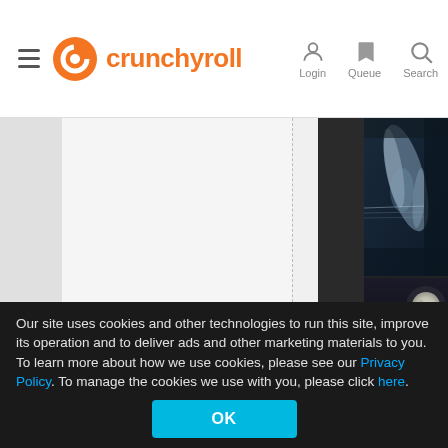[Figure (screenshot): Crunchyroll website header with hamburger menu, Crunchyroll logo (orange C icon and text), and navigation icons for Login, Queue, Search on the right]
[Figure (screenshot): Main content area showing a partially loaded page with gray/white panels on the left and dark anime screenshots on the right — top screenshot shows blurry bluish action scene, bottom screenshot shows a moonlit dark scene]
Our site uses cookies and other technologies to run this site, improve its operation and to deliver ads and other marketing materials to you. To learn more about how we use cookies, please see our Privacy Policy. To manage the cookies we use with you, please click here.
OK